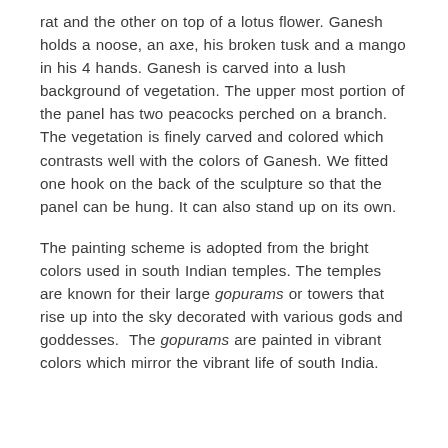rat and the other on top of a lotus flower. Ganesh holds a noose, an axe, his broken tusk and a mango in his 4 hands. Ganesh is carved into a lush background of vegetation. The upper most portion of the panel has two peacocks perched on a branch. The vegetation is finely carved and colored which contrasts well with the colors of Ganesh. We fitted one hook on the back of the sculpture so that the panel can be hung. It can also stand up on its own.
The painting scheme is adopted from the bright colors used in south Indian temples. The temples are known for their large gopurams or towers that rise up into the sky decorated with various gods and goddesses.  The gopurams are painted in vibrant colors which mirror the vibrant life of south India.